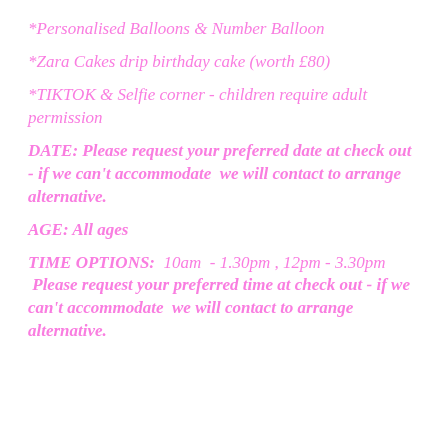*Personalised Balloons & Number Balloon
*Zara Cakes drip birthday cake (worth £80)
*TIKTOK & Selfie corner - children require adult permission
DATE: Please request your preferred date at check out - if we can't accommodate  we will contact to arrange alternative.
AGE: All ages
TIME OPTIONS:  10am  - 1.30pm , 12pm - 3.30pm  Please request your preferred time at check out - if we can't accommodate  we will contact to arrange alternative.